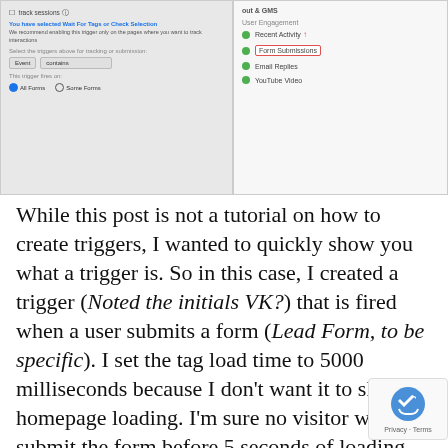[Figure (screenshot): Screenshot of a tag/trigger configuration interface showing two panels: left panel with trigger settings and radio buttons (All Forms / Some Forms), right panel showing User Engagement options including Recent Activity, Form Submissions (highlighted in red box), Email Replies, YouTube Video.]
While this post is not a tutorial on how to create triggers, I wanted to quickly show you what a trigger is. So in this case, I created a trigger (Noted the initials VK?) that is fired when a user submits a form (Lead Form, to be specific). I set the tag load time to 5000 milliseconds because I don't want it to slow the homepage loading. I'm sure no visitor will submit the form before 5 seconds of loading the